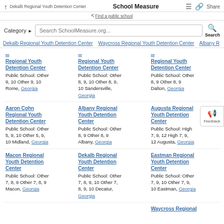Dekalb Regional Youth Detention Center | School Measure | Share
Find a public school
Category | Search SchoolMeasure.org... | Search
Dekalb Regional Youth Detention Center | Waycross Regional Youth Detention Center | Albany R
Regional Youth Detention Center
Public School: Other 9, 10 Other 9, 10
Rome, Georgia
Regional Youth Detention Center
Public School: Other 8, 9, 10 Other 8, 9, 10
Sandersville, Georgia
Regional Youth Detention Center
Public School: Other 8, 9 Other 8, 9
Dalton, Georgia
Aaron Cohn Regional Youth Detention Center
Public School: Other 5, 9, 10 Other 5, 9, 10
Midland, Georgia
Albany Regional Youth Detention Center
Public School: Other 8, 9 Other 8, 9
Albany, Georgia
Augusta Regional Youth Detention Center
Public School: High 7, 9, 12 High 7, 9, 12
Augusta, Georgia
Macon Regional Youth Detention Center
Public School: Other 7, 8, 9 Other 7, 8, 9
Macon, Georgia
Dekalb Regional Youth Detention Center
Public School: Other 7, 8, 9, 10 Other 7, 8, 9, 10
Decatur, Georgia
Eastman Regional Youth Detention Center
Public School: Other 7, 9, 10 Other 7, 9, 10
Eastman, Georgia
Waycross Regional